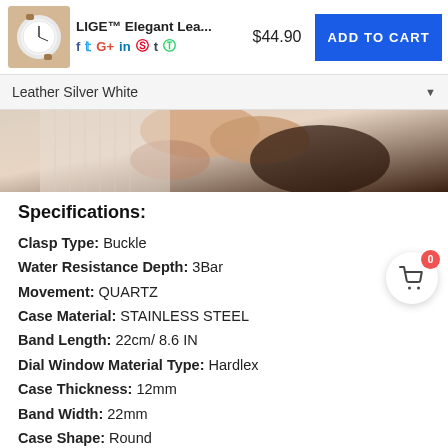LIGE™ Elegant Lea... $44.90 ADD TO CART
Leather Silver White
[Figure (photo): Close-up photo of hand holding a watch with leather strap]
Specifications:
Clasp Type: Buckle
Water Resistance Depth: 3Bar
Movement: QUARTZ
Case Material: STAINLESS STEEL
Band Length: 22cm/ 8.6 IN
Dial Window Material Type: Hardlex
Case Thickness: 12mm
Band Width: 22mm
Case Shape: Round
Band Material Type: Leather
Features: Complete Calendar, Shock